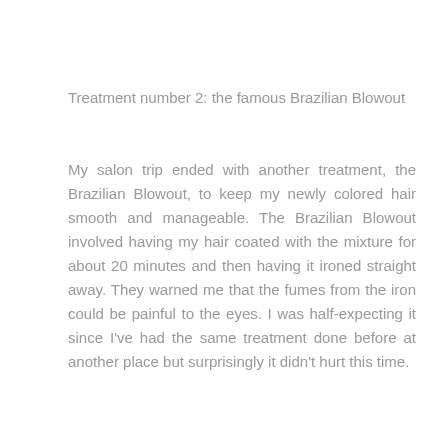Treatment number 2: the famous Brazilian Blowout
My salon trip ended with another treatment, the Brazilian Blowout, to keep my newly colored hair smooth and manageable. The Brazilian Blowout involved having my hair coated with the mixture for about 20 minutes and then having it ironed straight away. They warned me that the fumes from the iron could be painful to the eyes. I was half-expecting it since I've had the same treatment done before at another place but surprisingly it didn't hurt this time.